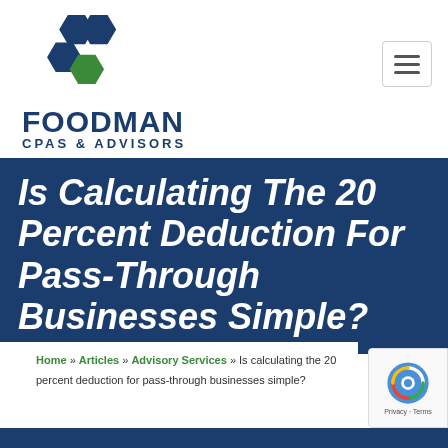[Figure (logo): Foodman CPAs & Advisors logo with hexagon shapes in dark blue and green, and company name below]
Is Calculating The 20 Percent Deduction For Pass-Through Businesses Simple?
Home » Articles » Advisory Services » Is calculating the 20 percent deduction for pass-through businesses simple?